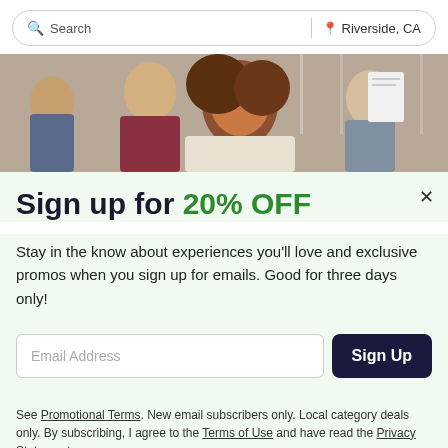Search | Riverside, CA
[Figure (photo): Group of smiling young people, students, with one holding papers up]
Sign up for 20% OFF
Stay in the know about experiences you'll love and exclusive promos when you sign up for emails. Good for three days only!
Email Address [input field] Sign Up [button]
See Promotional Terms. New email subscribers only. Local category deals only. By subscribing, I agree to the Terms of Use and have read the Privacy Statement